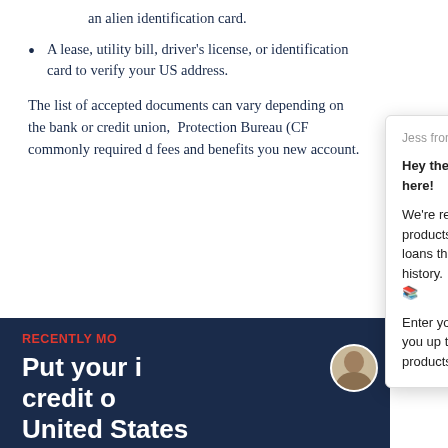an alien identification card.
A lease, utility bill, driver's license, or identification card to verify your US address.
The list of accepted documents can vary depending on the bank or credit union, Protection Bureau (CF commonly required d fees and benefits you new account.
[Figure (screenshot): Dark navy blue banner with red 'RECENTLY MO...' text label and large white bold headline 'Put your [i] credit [o] United States']
Jess from Nova Credit
Hey there, Jess from Nova Credit here!
We're regularly launching new products like phone plans and student loans that accept international credit history. 🚀 📞 📚
Enter your email below, and we'll keep you up to date as we support more products!